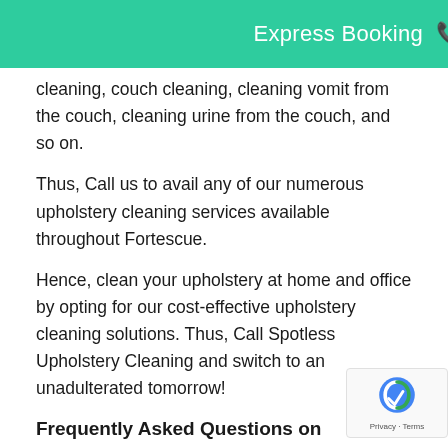Express Booking 📞 0482075034
cleaning, couch cleaning, cleaning vomit from the couch, cleaning urine from the couch, and so on.
Thus, Call us to avail any of our numerous upholstery cleaning services available throughout Fortescue.
Hence, clean your upholstery at home and office by opting for our cost-effective upholstery cleaning solutions. Thus, Call Spotless Upholstery Cleaning and switch to an unadulterated tomorrow!
Frequently Asked Questions on Upholstery Cleaning Fortescue:
Do you provide upholstery steam cleaning services?
Yes, we clean upholstery by using an appropriate